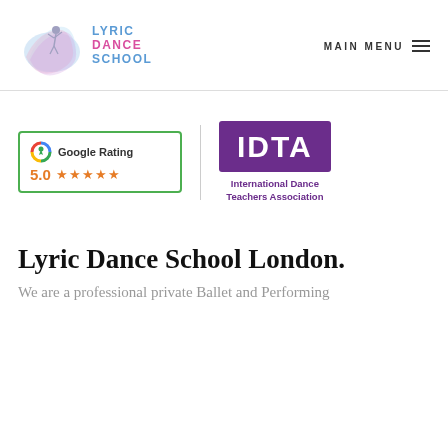[Figure (logo): Lyric Dance School logo with ballet dancer illustration and text LYRIC DANCE SCHOOL]
MAIN MENU
[Figure (logo): Google Rating badge showing 5.0 stars out of 5 with 5 gold star icons]
[Figure (logo): IDTA International Dance Teachers Association logo in purple box]
Lyric Dance School London.
We are a professional private Ballet and Performing